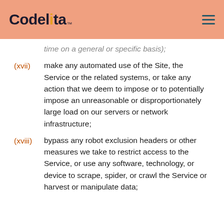Codelita™
time on a general or specific basis);
(xvii) make any automated use of the Site, the Service or the related systems, or take any action that we deem to impose or to potentially impose an unreasonable or disproportionately large load on our servers or network infrastructure;
(xviii) bypass any robot exclusion headers or other measures we take to restrict access to the Service, or use any software, technology, or device to scrape, spider, or crawl the Service or harvest or manipulate data;